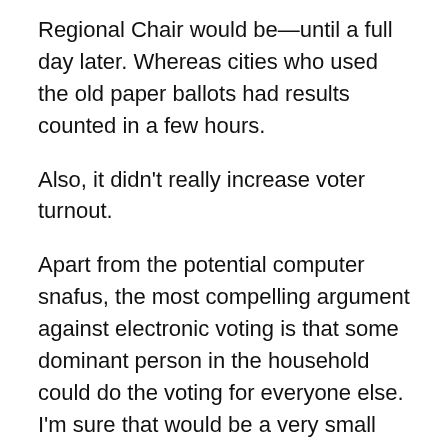Regional Chair would be—until a full day later. Whereas cities who used the old paper ballots had results counted in a few hours.
Also, it didn't really increase voter turnout.
Apart from the potential computer snafus, the most compelling argument against electronic voting is that some dominant person in the household could do the voting for everyone else. I'm sure that would be a very small problem, but there's no way to eliminate it. Whereas when you have to go vote in person, everybody gets a chance to mark their own x's in private.
Obviously, compared to the US wait, one day longer wasn't a big deal, but it was odd and I was curious about the results. If you are going to vote in these local elections semi-responsibly, you do have to do a fair amount of